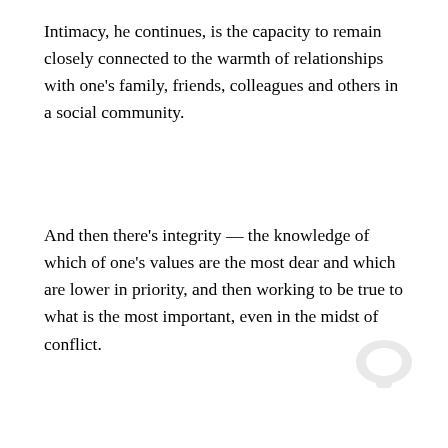Intimacy, he continues, is the capacity to remain closely connected to the warmth of relationships with one's family, friends, colleagues and others in a social community.
And then there's integrity — the knowledge of which of one's values are the most dear and which are lower in priority, and then working to be true to what is the most important, even in the midst of conflict.
For example, Horowitz continues, the "I's" guide readers to the best methods for evaluating an emotionally difficult situation; the book also provides on activities that might make you happier.
PHILADELPHIA JEWISH EXPONENT IS HERE FOR YOU
Your voluntary contribution supports our efforts to deliver content that engages and helps strengthen the Jewish community in the Philadelphia area.
CONTRIBUTE
There is also an appendix outlining the book's therapy complete with tables and additional resources, as well relatable examples from Horowitz's very own practice